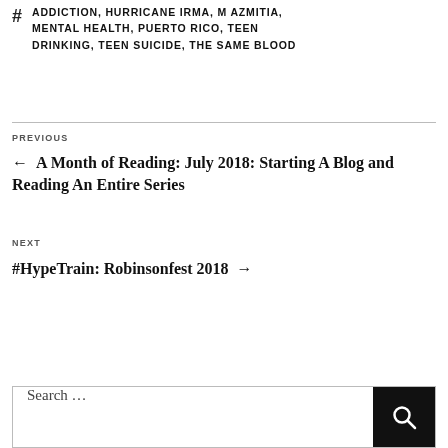# ADDICTION, HURRICANE IRMA, MAZMITIA, MENTAL HEALTH, PUERTO RICO, TEEN DRINKING, TEEN SUICIDE, THE SAME BLOOD
PREVIOUS
← A Month of Reading: July 2018: Starting A Blog and Reading An Entire Series
NEXT
#HypeTrain: Robinsonfest 2018 →